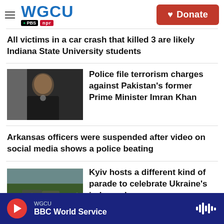WGCU PBS NPR — Donate
All victims in a car crash that killed 3 are likely Indiana State University students
[Figure (photo): Headshot of Pakistan's former Prime Minister Imran Khan wearing a dark suit]
Police file terrorism charges against Pakistan's former Prime Minister Imran Khan
Arkansas officers were suspended after video on social media shows a police beating
[Figure (photo): Aerial or crowd view of Kyiv parade]
Kyiv hosts a different kind of parade to celebrate Ukraine's independence
WGCU — BBC World Service